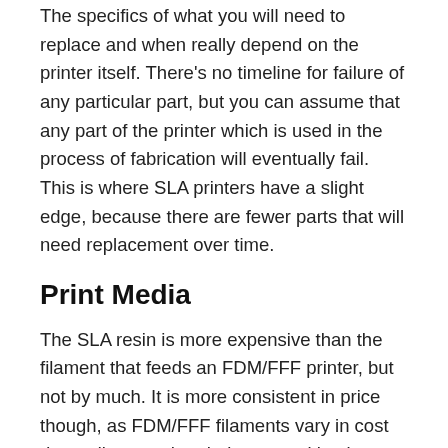The specifics of what you will need to replace and when really depend on the printer itself. There's no timeline for failure of any particular part, but you can assume that any part of the printer which is used in the process of fabrication will eventually fail. This is where SLA printers have a slight edge, because there are fewer parts that will need replacement over time.
Print Media
The SLA resin is more expensive than the filament that feeds an FDM/FFF printer, but not by much. It is more consistent in price though, as FDM/FFF filaments vary in cost depending on what their composition is.
Which filament you choose will depend upon what you